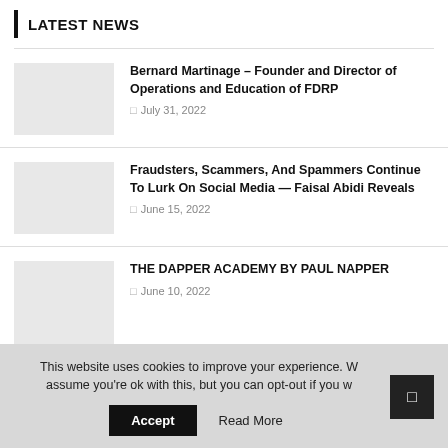LATEST NEWS
Bernard Martinage – Founder and Director of Operations and Education of FDRP
July 31, 2022
Fraudsters, Scammers, And Spammers Continue To Lurk On Social Media — Faisal Abidi Reveals
June 15, 2022
THE DAPPER ACADEMY BY PAUL NAPPER
June 10, 2022
This website uses cookies to improve your experience. We assume you're ok with this, but you can opt-out if you wish.
Accept
Read More